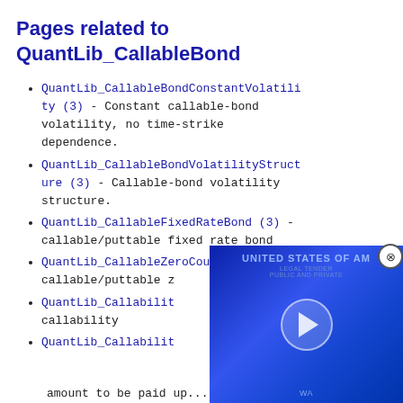Pages related to QuantLib_CallableBond
QuantLib_CallableBondConstantVolatility (3) - Constant callable-bond volatility, no time-strike dependence.
QuantLib_CallableBondVolatilityStructure (3) - Callable-bond volatility structure.
QuantLib_CallableFixedRateBond (3) - callable/puttable fixed rate bond
QuantLib_CallableZeroCouponBond (3) - callable/puttable z...
QuantLib_Callabilit... callability
QuantLib_Callabilit... amount to be paid up...
[Figure (screenshot): Overlay video player with blue US dollar bill background and play button, with close (X) button in top-right corner]